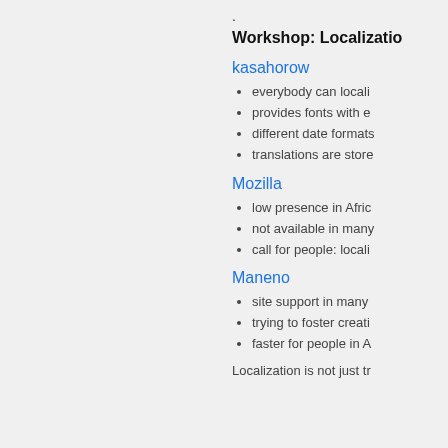.
Workshop: Localizatio
kasahorow
everybody can locali
provides fonts with e
different date formats
translations are store
Mozilla
low presence in Afric
not available in many
call for people: locali
Maneno
site support in many
trying to foster creati
faster for people in A
Localization is not just tr